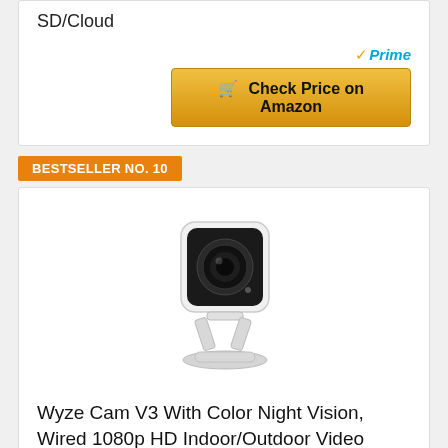SD/Cloud
[Figure (other): Amazon Prime badge with checkmark and 'Prime' text in blue italic]
[Figure (other): Check Price on Amazon button with shopping cart icon, gold/orange gradient background]
BESTSELLER NO. 10
[Figure (photo): Wyze Cam V3 security camera, white with black front, mounted on a small adjustable stand/bracket]
Wyze Cam V3 With Color Night Vision, Wired 1080p HD Indoor/Outdoor Video Camera, 2-Way Audio, Works With